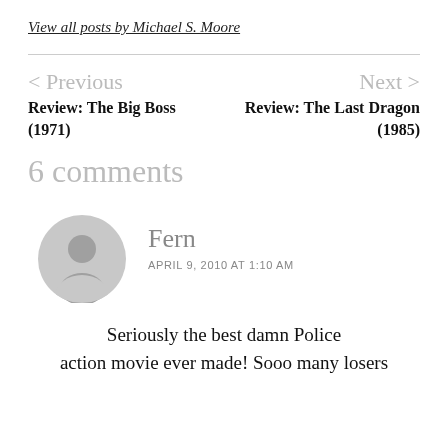View all posts by Michael S. Moore
< Previous
Review: The Big Boss (1971)
Next >
Review: The Last Dragon (1985)
6 comments
[Figure (illustration): Default user avatar icon — a grey silhouette of a person in a circle]
Fern
APRIL 9, 2010 AT 1:10 AM
Seriously the best damn Police action movie ever made! Sooo many losers